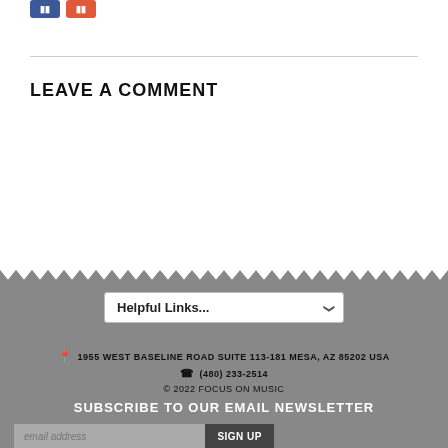[Figure (other): Social share buttons — blue Facebook button and red/orange button]
LEAVE A COMMENT
Helpful Links... (dropdown selector)
1955 WEST BASELINE ROAD SUITE 113-181 MESA, AZ 85202 USA
(480) 233-2514
© 2022 FOCUS ON MUSIC
SUBSCRIBE TO OUR EMAIL NEWSLETTER
email address   SIGN UP